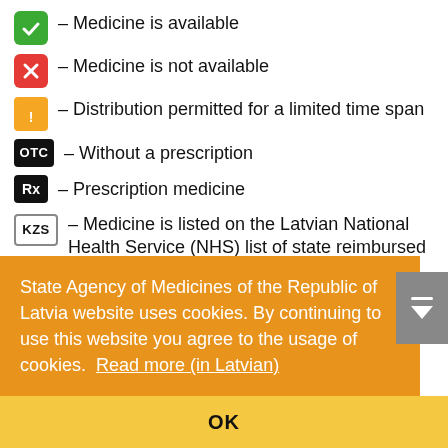✓ – Medicine is available
✗ – Medicine is not available
⚠ – Distribution permitted for a limited time span
OTC – Without a prescription
Rx – Prescription medicine
KZS – Medicine is listed on the Latvian National Health Service (NHS) list of state reimbursed medicines. (source of the information – the NHS)
KZS R – Reference medicine on the NHS List of state reimbursed medicines
State Agency of Medicines of the Republic of Latvia website uses cookies. By continuing to use this website you agree to the usage of cookies. Read more (in Latvian)
OK